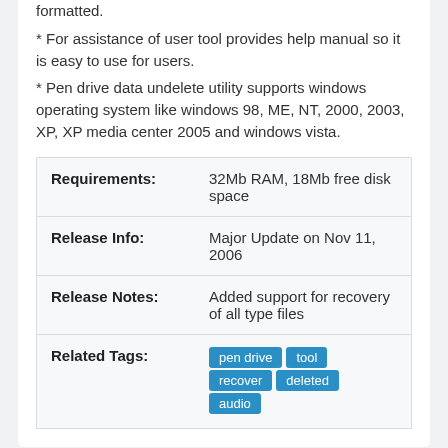formatted.
* For assistance of user tool provides help manual so it is easy to use for users.
* Pen drive data undelete utility supports windows operating system like windows 98, ME, NT, 2000, 2003, XP, XP media center 2005 and windows vista.
|  |  |
| --- | --- |
| Requirements: | 32Mb RAM, 18Mb free disk space |
| Release Info: | Major Update on Nov 11, 2006 |
| Release Notes: | Added support for recovery of all type files |
| Related Tags: | pen drive  tool  recover  deleted  audio |
Reviews